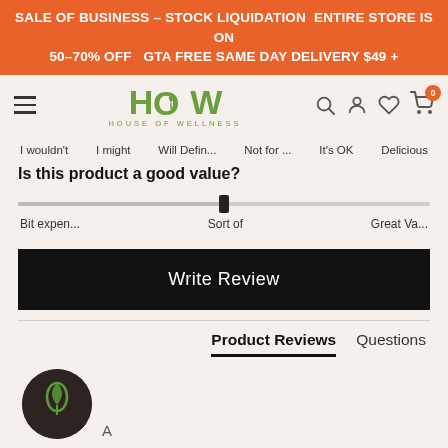SALE OF BUSINESS – STOCK LIQUIDATION  ENTIRE STORE IS ON 50–70% OFF   GTA FREE SAME DAY DELIVERY $49 +
[Figure (logo): House of Wellness logo with HOW in large green text and a leaf icon, with 'HOUSE OF WELLNESS' subtitle]
I wouldn't   I might   Will Defin...   Not for ...   It's OK   Delicious
Is this product a good value?
[Figure (other): Horizontal slider showing value scale from 'Bit expen...' to 'Sort of' to 'Great Va...' with thumb positioned at Sort of]
Bit expen...   Sort of   Great Va...
Write Review
Product Reviews   Questions
[Figure (illustration): Circular dark avatar icon with a green leaf/plant symbol, representing a reviewer profile, with letter A below]